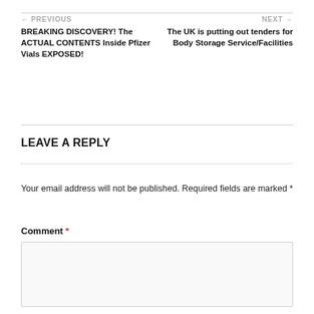← PREVIOUS
BREAKING DISCOVERY! The ACTUAL CONTENTS Inside Pfizer Vials EXPOSED!
NEXT →
The UK is putting out tenders for Body Storage Service/Facilities
LEAVE A REPLY
Your email address will not be published. Required fields are marked *
Comment *